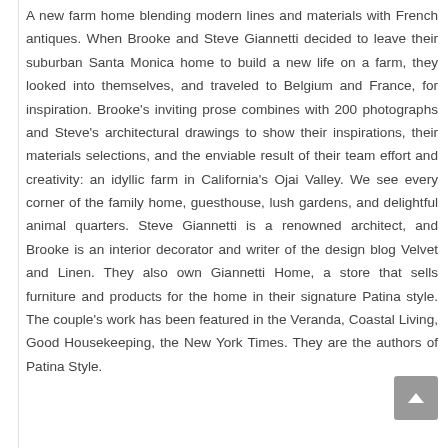A new farm home blending modern lines and materials with French antiques. When Brooke and Steve Giannetti decided to leave their suburban Santa Monica home to build a new life on a farm, they looked into themselves, and traveled to Belgium and France, for inspiration. Brooke's inviting prose combines with 200 photographs and Steve's architectural drawings to show their inspirations, their materials selections, and the enviable result of their team effort and creativity: an idyllic farm in California's Ojai Valley. We see every corner of the family home, guesthouse, lush gardens, and delightful animal quarters. Steve Giannetti is a renowned architect, and Brooke is an interior decorator and writer of the design blog Velvet and Linen. They also own Giannetti Home, a store that sells furniture and products for the home in their signature Patina style. The couple's work has been featured in the Veranda, Coastal Living, Good Housekeeping, the New York Times. They are the authors of Patina Style.